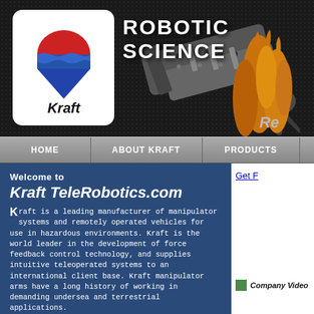[Figure (logo): Kraft company logo: red semicircle sun above blue triangle with wave, on white rounded rectangle background]
ROBOTIC SCIENCE
[Figure (photo): Robotic manipulator arm mechanical claw in dark background with coral reef on right side, text 'Re' partially visible]
HOME | ABOUT KRAFT | PRODUCTS |
Get F
Welcome to
Kraft TeleRobotics.com
Kraft is a leading manufacturer of manipulator systems and remotely operated vehicles for use in hazardous environments. Kraft is the world leader in the development of force feedback control technology, and supplies intuitive teleoperated systems to an international client base. Kraft manipulator arms have a long history of working in demanding undersea and terrestrial applications.
We hope you find our site both
Company Video